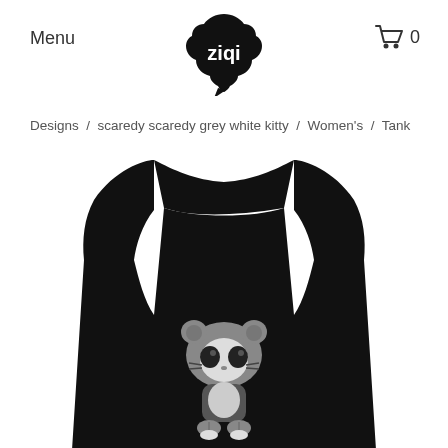Menu
[Figure (logo): ziqi brand logo - black speech bubble shape with 'ziqi' text in white]
[Figure (other): Shopping cart icon with number 0]
Designs  /  scaredy scaredy grey white kitty  /  Women's  /  Tank
[Figure (photo): Black women's racerback tank top with a cute grey and white cartoon cat (scaredy kitty) graphic printed on the front chest area. The cat character has large dark eyes, round ears, and appears scared or shy.]